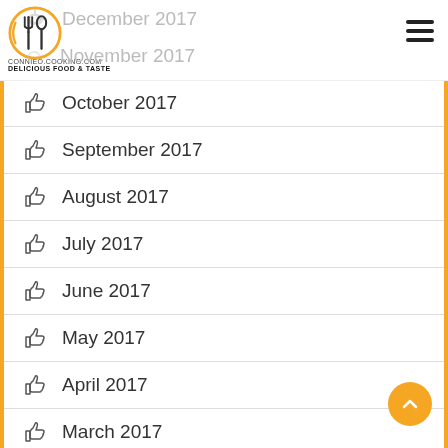[Figure (logo): Connieo cooking logo with fork icon, circular design in gold/yellow, site name CONNIEO.COOKING.COM and tagline DELICIOUS FOOD & TASTE]
December 2017
November 2017
October 2017
September 2017
August 2017
July 2017
June 2017
May 2017
April 2017
March 2017
February 2017